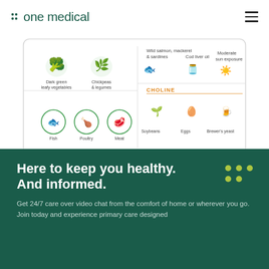one medical
[Figure (infographic): Nutritional infographic showing food sources of vitamins/nutrients. Left panel shows dark green leafy vegetables and chickpeas & legumes (green icons). Right top shows wild salmon, mackerel & sardines, cod liver oil, moderate sun exposure (blue icons) with a label above. Right bottom shows CHOLINE section (orange label) with soybeans, eggs, brewer's yeast icons. Bottom center shows fish, poultry, meat icons in green circles. One Medical logo at bottom.]
Here to keep you healthy. And informed.
Get 24/7 care over video chat from the comfort of home or wherever you go. Join today and experience primary care designed